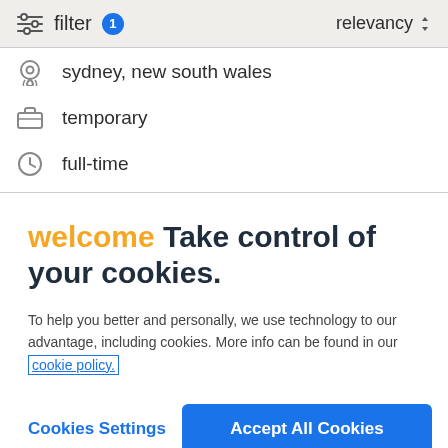filter 1   relevancy
sydney, new south wales
temporary
full-time
welcome Take control of your cookies.
To help you better and personally, we use technology to our advantage, including cookies. More info can be found in our cookie policy.
Cookies Settings   Accept All Cookies